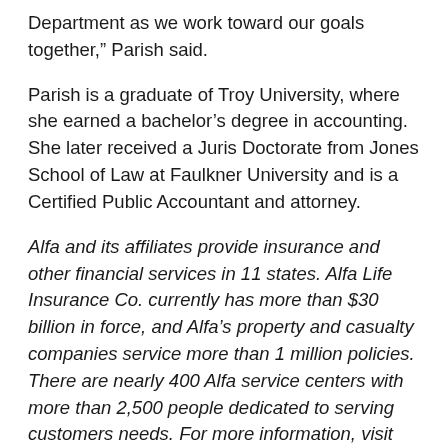Department as we work toward our goals together,” Parish said.
Parish is a graduate of Troy University, where she earned a bachelor’s degree in accounting. She later received a Juris Doctorate from Jones School of Law at Faulkner University and is a Certified Public Accountant and attorney.
Alfa and its affiliates provide insurance and other financial services in 11 states. Alfa Life Insurance Co. currently has more than $30 billion in force, and Alfa’s property and casualty companies service more than 1 million policies. There are nearly 400 Alfa service centers with more than 2,500 people dedicated to serving customers needs. For more information, visit AlfaInsurance.com. Founded by the Alabama Farmers Federation in 1946, the company celebrates its 75th anniversary in 2021.